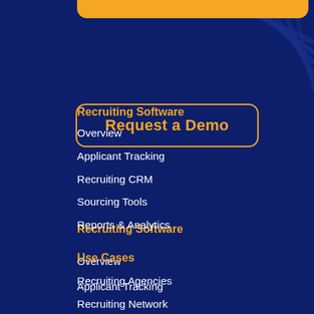[Figure (other): Partial orange rounded button visible at the very top of the page, cut off]
[Figure (other): Decorative diagonal lines pattern on the top right corner in dark blue shades]
Request a Demo
Recruiting Software
Overview
Applicant Tracking
Recruiting CRM
Sourcing Tools
Reports & Analytics
Use Cases
Recruiting Agencies
Recruiting Network